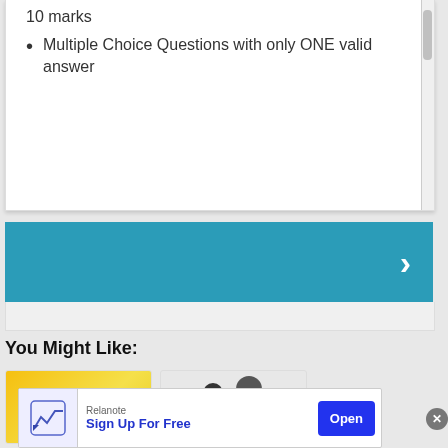10 marks
Multiple Choice Questions with only ONE valid answer
[Figure (screenshot): Blue teal navigation bar with a right-pointing chevron arrow on the right side]
You Might Like:
[Figure (screenshot): Two thumbnail cards: one gold/yellow gradient with a checkmark, one showing two people studying]
[Figure (screenshot): Advertisement banner for Relanote with 'Sign Up For Free' button and Open CTA]